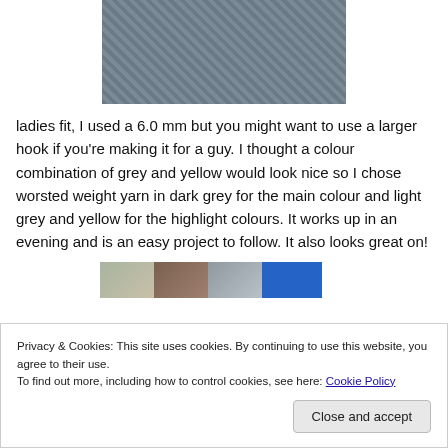[Figure (photo): Close-up photo of a crocheted hat/beanie in dark grey yarn texture]
ladies fit, I used a 6.0 mm but you might want to use a larger hook if you're making it for a guy. I thought a colour combination of grey and yellow would look nice so I chose worsted weight yarn in dark grey for the main colour and light grey and yellow for the highlight colours. It works up in an evening and is an easy project to follow. It also looks great on!
[Figure (photo): Row of thumbnail images showing the crocheted hat from different angles, plus a blue button/element]
Privacy & Cookies: This site uses cookies. By continuing to use this website, you agree to their use.
To find out more, including how to control cookies, see here: Cookie Policy
Close and accept